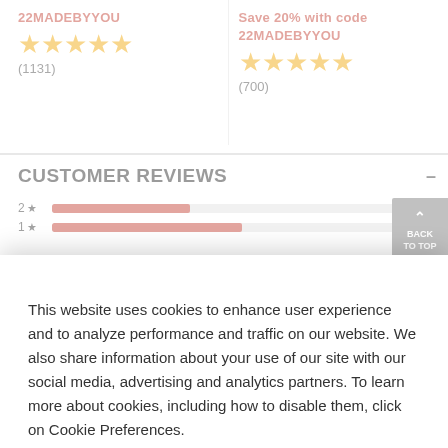22MADEBYYOU
[Figure (other): 5 gold stars rating]
(1131)
Save 20% with code 22MADEBYYOU
[Figure (other): 5 gold stars rating]
(700)
CUSTOMER REVIEWS
2★  18
1★  31
This website uses cookies to enhance user experience and to analyze performance and traffic on our website. We also share information about your use of our site with our social media, advertising and analytics partners. To learn more about cookies, including how to disable them, click on Cookie Preferences.
Cookie Preferences
Got It